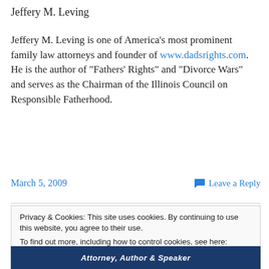Jeffery M. Leving
Jeffery M. Leving is one of America's most prominent family law attorneys and founder of www.dadsrights.com. He is the author of “Fathers’ Rights” and “Divorce Wars” and serves as the Chairman of the Illinois Council on Responsible Fatherhood.
March 5, 2009   Leave a Reply
Privacy & Cookies: This site uses cookies. By continuing to use this website, you agree to their use. To find out more, including how to control cookies, see here: Cookie Policy
[Figure (photo): Bottom banner showing a man with text Attorney, Author & Speaker on a dark blue background]